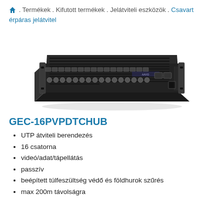🏠 . Termékek . Kifutott termékek . Jelátviteli eszközök . Csavart érpáras jelátvitel
[Figure (photo): Photo of a rack-mount network hub device, GEC-16PVPDTCHUB, black 1U chassis with multiple RJ45 ports on the front and ventilation slots on top.]
GEC-16PVPDTCHUB
UTP átviteli berendezés
16 csatorna
videó/adat/tápellátás
passzív
beépített túlfeszültség védő és földhurok szűrés
max 200m távolságra